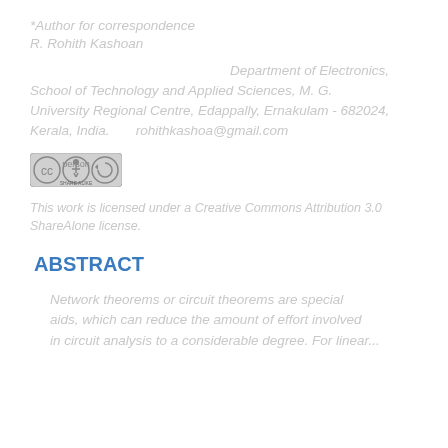*Author for correspondence
R. Rohith Kashoan
Department of Electronics, School of Technology and Applied Sciences, M. G. University Regional Centre, Edappally, Ernakulam - 682024, Kerala, India. rohithkashoa@gmail.com
[Figure (logo): Creative Commons Attribution 3.0 Share Alike license badge]
This work is licensed under a Creative Commons Attribution 3.0 ShareAlone license.
ABSTRACT
Network theorems or circuit theorems are special aids, which can reduce the amount of effort involved in circuit analysis to a considerable degree. For linear...